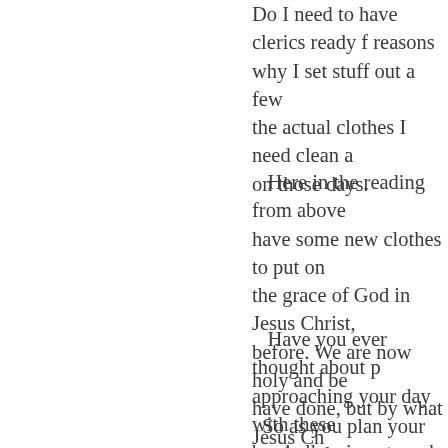Do I need to have clerics ready f... reasons why I set stuff out a few... the actual clothes I need clean a... on those days.
Here in the reading from above... have some new clothes to put on... the grace of God in Jesus Christ,... before. We are now holy and be... have done, but by what Jesus Ch... clothes to put on. Clothes like k... patience. These are the clothes ... show the world the power of Go... you are given to effect change in...
Have you ever thought about p... approaching your day with these... be challenging at work with pati... deal with a family situation? Put... the sake of your neighbor? God... clothes that prepare us for every... world about what it means to fo...
So as you plan your week and y... body, think about the clothes giv...